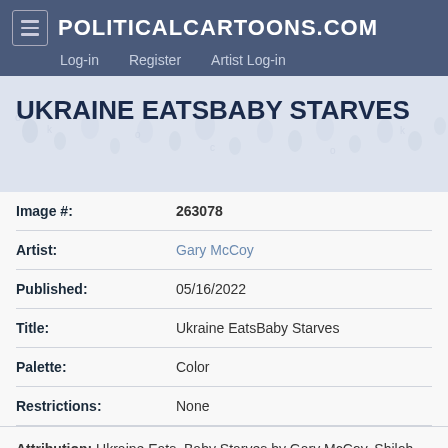POLITICALCARTOONS.COM — Log-in   Register   Artist Log-in
UKRAINE EATSBABY STARVES
| Field | Value |
| --- | --- |
| Image #: | 263078 |
| Artist: | Gary McCoy |
| Published: | 05/16/2022 |
| Title: | Ukraine EatsBaby Starves |
| Palette: | Color |
| Restrictions: | None |
Attribution: Ukraine Eats, Baby Starves by Gary McCoy, Shiloh, IL